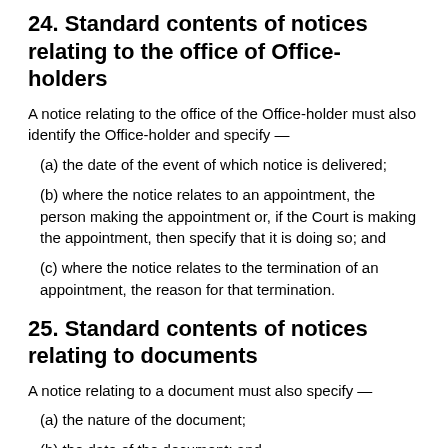24. Standard contents of notices relating to the office of Office-holders
A notice relating to the office of the Office-holder must also identify the Office-holder and specify —
(a) the date of the event of which notice is delivered;
(b) where the notice relates to an appointment, the person making the appointment or, if the Court is making the appointment, then specify that it is doing so; and
(c) where the notice relates to the termination of an appointment, the reason for that termination.
25. Standard contents of notices relating to documents
A notice relating to a document must also specify —
(a) the nature of the document;
(b) the date of the document; and